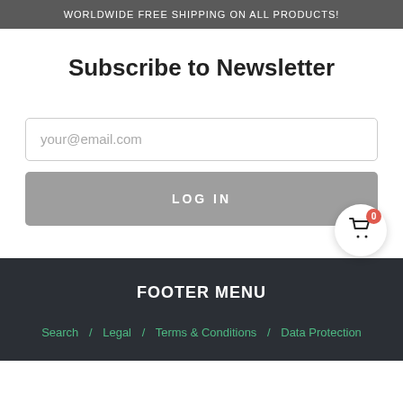WORLDWIDE FREE SHIPPING ON ALL PRODUCTS!
Subscribe to Newsletter
your@email.com
LOG IN
FOOTER MENU
Search / Legal / Terms & Conditions / Data Protection